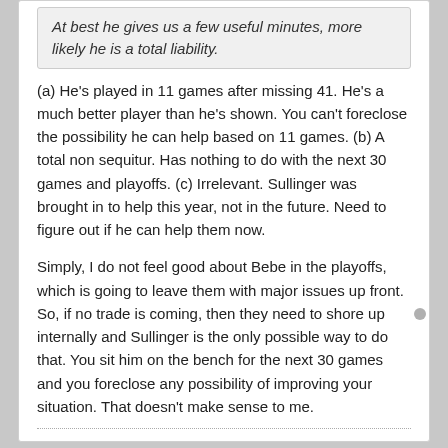At best he gives us a few useful minutes, more likely he is a total liability.
(a) He's played in 11 games after missing 41. He's a much better player than he's shown. You can't foreclose the possibility he can help based on 11 games. (b) A total non sequitur. Has nothing to do with the next 30 games and playoffs. (c) Irrelevant. Sullinger was brought in to help this year, not in the future. Need to figure out if he can help them now.

Simply, I do not feel good about Bebe in the playoffs, which is going to leave them with major issues up front. So, if no trade is coming, then they need to shore up internally and Sullinger is the only possible way to do that. You sit him on the bench for the next 30 games and you foreclose any possibility of improving your situation. That doesn't make sense to me.
rightsideup
Raptors Republic All-Star
Join Date: Jul 2014   Posts: 1903